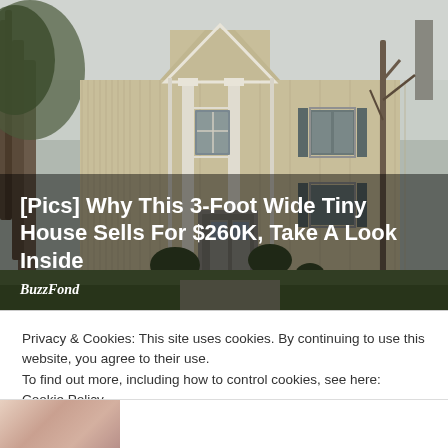[Figure (photo): Photo of a two-story beige/tan colonial-style house with white columns and trim, surrounded by bare trees, taken on an overcast day. Overlaid at the bottom with a title and source attribution on a semi-transparent dark background.]
[Pics] Why This 3-Foot Wide Tiny House Sells For $260K, Take A Look Inside
BuzzFond
Privacy & Cookies: This site uses cookies. By continuing to use this website, you agree to their use.
To find out more, including how to control cookies, see here: Cookie Policy
Close and accept